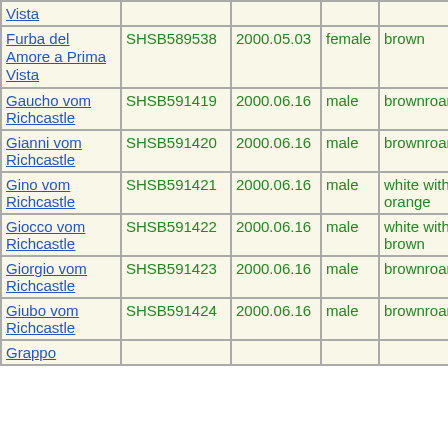| Name | Registration | Date | Sex | Color |  |  |  |
| --- | --- | --- | --- | --- | --- | --- | --- |
| Vista (partial) |  |  |  |  |  |  |  |
| Furba del Amore a Prima Vista | SHSB589538 | 2000.05.03 | female | brown |  |  |  |
| Gaucho vom Richcastle | SHSB591419 | 2000.06.16 | male | brownroan | B | +- |  |
| Gianni vom Richcastle | SHSB591420 | 2000.06.16 | male | brownroan | A | +- |  |
| Gino vom Richcastle | SHSB591421 | 2000.06.16 | male | white with orange |  |  |  |
| Giocco vom Richcastle | SHSB591422 | 2000.06.16 | male | white with brown |  |  |  |
| Giorgio vom Richcastle | SHSB591423 | 2000.06.16 | male | brownroan |  |  |  |
| Giubo vom Richcastle | SHSB591424 | 2000.06.16 | male | brownroan |  |  |  |
| Grappo |  |  |  |  |  |  |  |